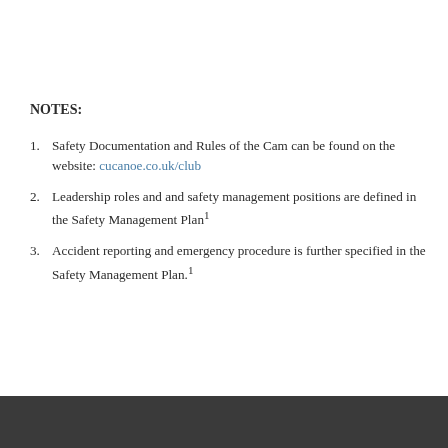NOTES:
Safety Documentation and Rules of the Cam can be found on the website: cucanoe.co.uk/club
Leadership roles and and safety management positions are defined in the Safety Management Plan¹
Accident reporting and emergency procedure is further specified in the Safety Management Plan.¹